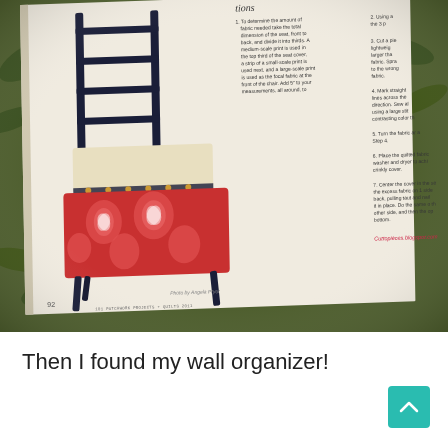[Figure (photo): A photograph of an open book showing a page about patchwork quilts, with a black ladder-back chair featuring a red floral quilted seat cushion, set against green foliage background. The book page shows numbered instructions and text including 'Cuttopièces.blogspot.com' in red, and '101 PATCHWORK PROJECTS + QUILTS 2011' at the bottom.]
Then I found my wall organizer!